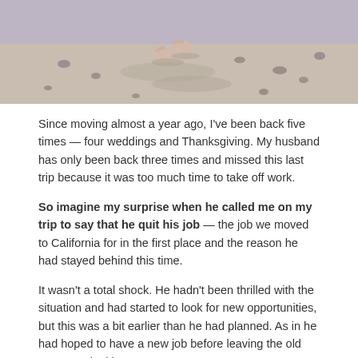[Figure (photo): Person's bare feet walking on sandy beach with pebbles, top portion of image cropped]
Since moving almost a year ago, I've been back five times — four weddings and Thanksgiving. My husband has only been back three times and missed this last trip because it was too much time to take off work.
So imagine my surprise when he called me on my trip to say that he quit his job — the job we moved to California for in the first place and the reason he had stayed behind this time.
It wasn't a total shock. He hadn't been thrilled with the situation and had started to look for new opportunities, but this was a bit earlier than he had planned. As in he had hoped to have a new job before leaving the old one. He's looking.
The upside to him being unemployed is that I actually get to spend some time with him! Or I did.
[Figure (photo): Bottom portion of outdoor nature photo, appears to show coastal cliffs and water, partially cut off]